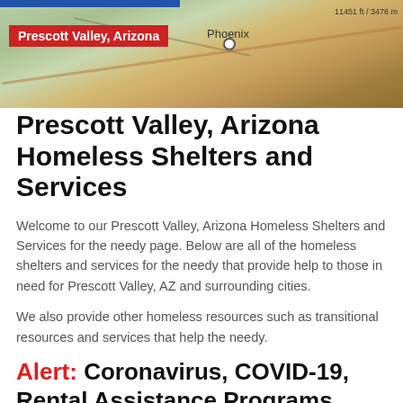[Figure (map): Map showing Prescott Valley, Arizona region with terrain and Phoenix labeled. Red label bar reads 'Prescott Valley, Arizona'. Elevation marker '11451 ft / 3476 m' in top right corner.]
Prescott Valley, Arizona Homeless Shelters and Services
Welcome to our Prescott Valley, Arizona Homeless Shelters and Services for the needy page. Below are all of the homeless shelters and services for the needy that provide help to those in need for Prescott Valley, AZ and surrounding cities.
We also provide other homeless resources such as transitional resources and services that help the needy.
Alert: Coronavirus, COVID-19, Rental Assistance Programs
Looking for government and non-profit programs to